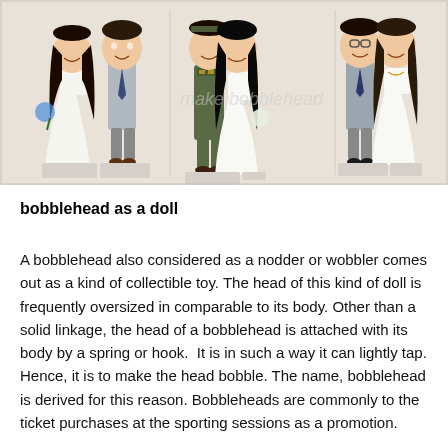[Figure (photo): Photo of six custom bobblehead dolls arranged in three pairs, each pair consisting of a bride and groom in wedding attire. The pairs show different outfits including civilian suits, a military uniform, and gray suits. The bobbleheads have oversized heads and are standing on white platforms. A faint watermark reads 'make bobblehead' in the center.]
bobblehead as a doll
A bobblehead also considered as a nodder or wobbler comes out as a kind of collectible toy. The head of this kind of doll is frequently oversized in comparable to its body. Other than a solid linkage, the head of a bobblehead is attached with its body by a spring or hook.  It is in such a way it can lightly tap. Hence, it is to make the head bobble. The name, bobblehead is derived for this reason. Bobbleheads are commonly to the ticket purchases at the sporting sessions as a promotion.